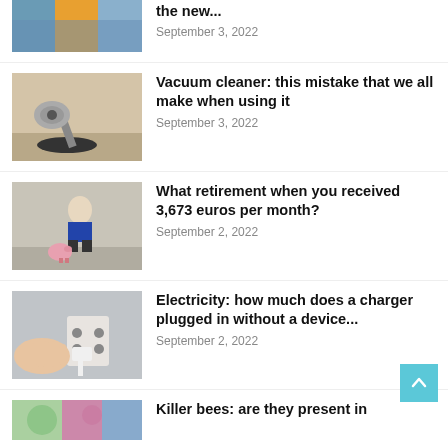[Figure (photo): Partial top article image showing colorful sky panels (weather/seasons collage)]
the new...
September 3, 2022
[Figure (photo): Vacuum cleaner head on a wooden floor]
Vacuum cleaner: this mistake that we all make when using it
September 3, 2022
[Figure (photo): Elderly man in suit sitting on floor with piggy bank]
What retirement when you received 3,673 euros per month?
September 2, 2022
[Figure (photo): Hand unplugging a charger from a wall socket]
Electricity: how much does a charger plugged in without a device...
September 2, 2022
[Figure (photo): Partial bottom article image with blurred green and colorful background]
Killer bees: are they present in France?